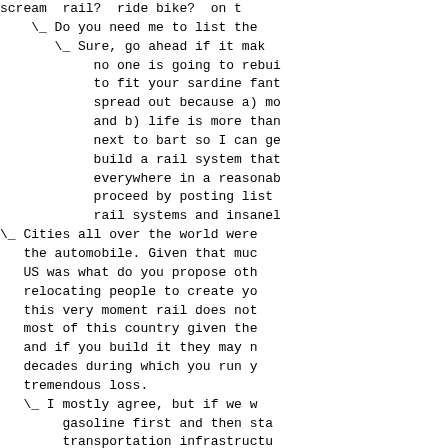scream 'rail? ride bike?  oh t
\_ Do you need me to list the
   \_ Sure, go ahead if it mak
        no one is going to rebu
        to fit your sardine fant
        spread out because a) mo
        and b) life is more than
        next to bart so I can ge
        build a rail system that
        everywhere in a reasonab
        proceed by posting list
        rail systems and insanel
\_ Cities all over the world were
     the automobile. Given that muc
     US was what do you propose oth
     relocating people to create yo
     this very moment rail does not
     most of this country given the
     and if you build it they may n
     decades during which you run y
     tremendous loss.
     \_ I mostly agree, but if we w
          gasoline first and then st
          transportation infrastructu
          be in a world of hurt. It i
          at least imagine what a pos
          look like. Then again, mayb
          be driving electric smart c
          our suburbs and clean air t
          think we should count on th
          gasoline first and the